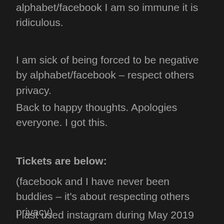alphabet/facebook I am so immune it is ridiculous.
I am sick of being forced to be negative by alphabet/facebook – respect others privacy.
Back to happy thoughts. Apologies everyone. I got this.
Tickets are below:
(facebook and I have never been buddies – it's about respecting others privacy)
I last used instagram during May 2019 and the